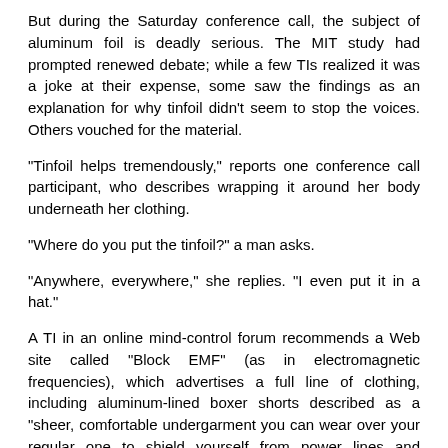But during the Saturday conference call, the subject of aluminum foil is deadly serious. The MIT study had prompted renewed debate; while a few TIs realized it was a joke at their expense, some saw the findings as an explanation for why tinfoil didn't seem to stop the voices. Others vouched for the material.
"Tinfoil helps tremendously," reports one conference call participant, who describes wrapping it around her body underneath her clothing.
"Where do you put the tinfoil?" a man asks.
"Anywhere, everywhere," she replies. "I even put it in a hat."
A TI in an online mind-control forum recommends a Web site called "Block EMF" (as in electromagnetic frequencies), which advertises a full line of clothing, including aluminum-lined boxer shorts described as a "sheer, comfortable undergarment you can wear over your regular one to shield yourself from power lines and computer electric fields, and microwave, radar, and TV radiation." Similarly, a tinfoil hat disguised as a regular baseball cap is "smart and subtle."